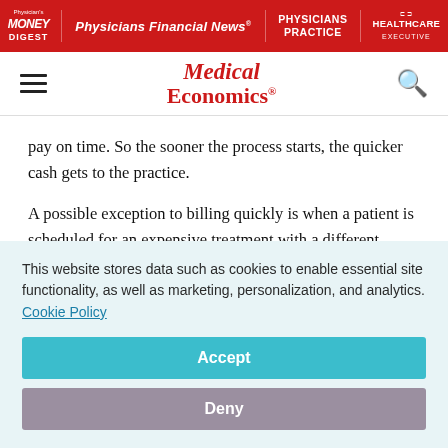Physician's Money Digest | Physicians Financial News | PHYSICIANS PRACTICE | HEALTHCARE EXECUTIVE
Medical Economics
pay on time. So the sooner the process starts, the quicker cash gets to the practice.
A possible exception to billing quickly is when a patient is scheduled for an expensive treatment with a different provider at the beginning of the year, says Joel Shalowitz, MD, MBA, FACP, assistant professor of management and clinical...
This website stores data such as cookies to enable essential site functionality, as well as marketing, personalization, and analytics. Cookie Policy
Accept
Deny